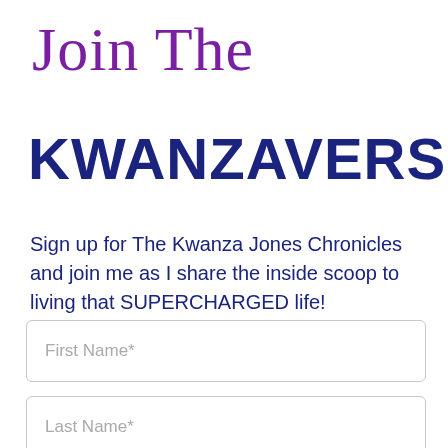Join The
KWANZAVERSE
Sign up for The Kwanza Jones Chronicles and join me as I share the inside scoop to living that SUPERCHARGED life!
First Name*
Last Name*